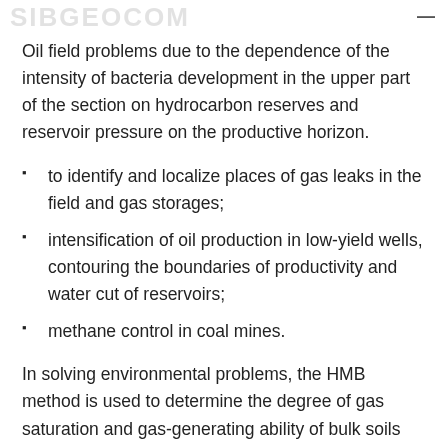SIBGEOCOM
Oil field problems due to the dependence of the intensity of bacteria development in the upper part of the section on hydrocarbon reserves and reservoir pressure on the productive horizon.
to identify and localize places of gas leaks in the field and gas storages;
intensification of oil production in low-yield wells, contouring the boundaries of productivity and water cut of reservoirs;
methane control in coal mines.
In solving environmental problems, the HMB method is used to determine the degree of gas saturation and gas-generating ability of bulk soils (construction sites and solid waste landfills) based on the study of the activity of